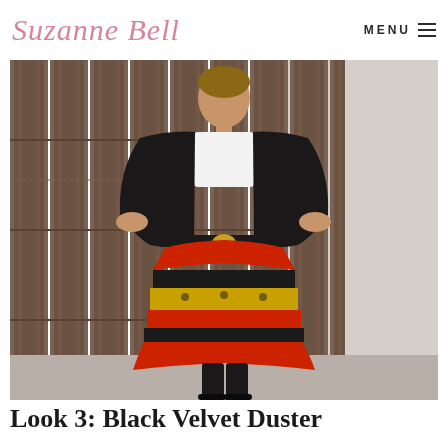Suzanne Bell | MENU ☰
[Figure (photo): A woman standing in front of wooden barn doors, wearing a black leather jacket over a white top, a wide black belt with a gold buckle, and a colorful patterned skirt with red, gold, and black designs. She is also wearing black boots.]
Look 3: Black Velvet Duster